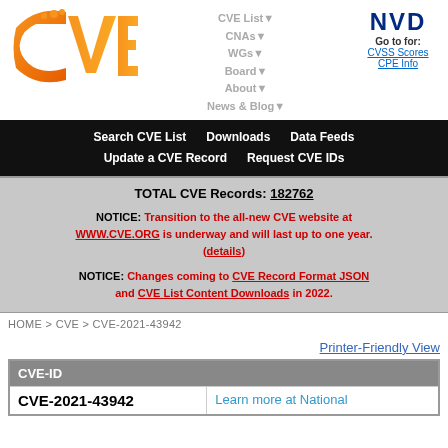[Figure (logo): CVE orange gradient logo]
CVE List▼ CNAs▼ WGs▼ Board▼ About▼ News & Blog▼
[Figure (logo): NVD logo with Go to for: CVSS Scores, CPE Info]
Search CVE List   Downloads   Data Feeds   Update a CVE Record   Request CVE IDs
TOTAL CVE Records: 182762
NOTICE: Transition to the all-new CVE website at WWW.CVE.ORG is underway and will last up to one year. (details)
NOTICE: Changes coming to CVE Record Format JSON and CVE List Content Downloads in 2022.
HOME > CVE > CVE-2021-43942
Printer-Friendly View
| CVE-ID |  |
| --- | --- |
| CVE-2021-43942 | Learn more at National |